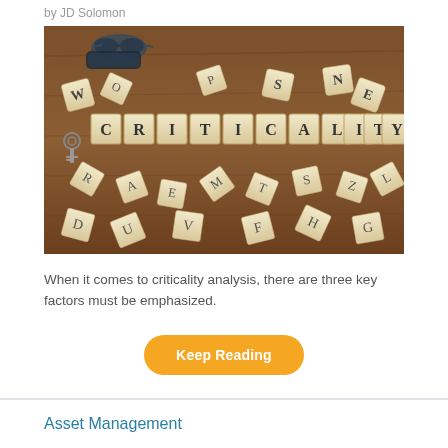by JD Solomon
[Figure (photo): Photograph of Scrabble tiles arranged to spell 'CRITICALITY' on a wooden surface, surrounded by scattered tiles, with glasses and keys in the background.]
When it comes to criticality analysis, there are three key factors must be emphasized.
Keep Reading
Asset Management